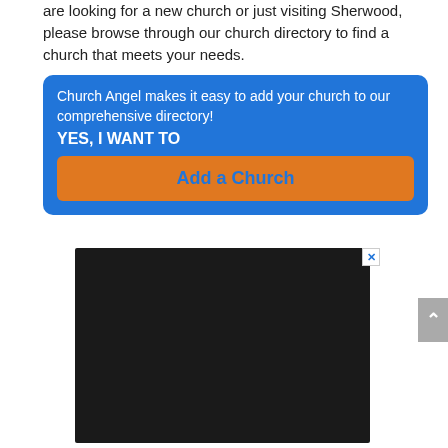are looking for a new church or just visiting Sherwood, please browse through our church directory to find a church that meets your needs.
Church Angel makes it easy to add your church to our comprehensive directory! YES, I WANT TO Add a Church
[Figure (screenshot): Advertisement banner with dark/black leather texture background showing white bold italic text: THE BIBLE NEVER SAID THAT]